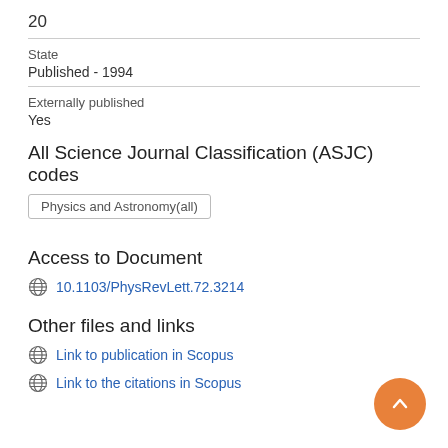20
State
Published - 1994
Externally published
Yes
All Science Journal Classification (ASJC) codes
Physics and Astronomy(all)
Access to Document
10.1103/PhysRevLett.72.3214
Other files and links
Link to publication in Scopus
Link to the citations in Scopus